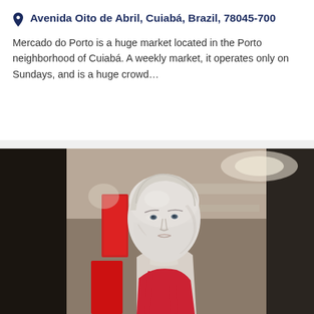Avenida Oito de Abril, Cuiabá, Brazil, 78045-700
Mercado do Porto is a huge market located in the Porto neighborhood of Cuiabá. A weekly market, it operates only on Sundays, and is a huge crowd...
[Figure (photo): Close-up photograph of a white female mannequin head and upper torso wearing a red top, displayed in what appears to be a store window or retail setting with blurred background showing red sale tags and display shelving.]